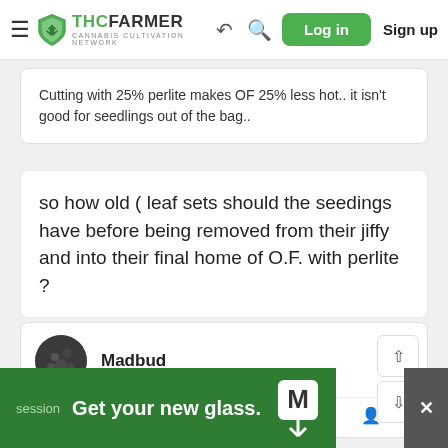THC FARMER | Cannabis Cultivation Network — Log in  Sign up
Cutting with 25% perlite makes OF 25% less hot.. it isn't good for seedlings out of the bag..
so how old ( leaf sets should the seedings have before being removed from their jiffy and into their final home of O.F. with perlite ?
Madbud
Jun 29, 2019  #38
[Figure (screenshot): Green advertisement banner at the bottom reading 'Get your new glass.' with a Moose Labs / M icon and a close button]
session  Get your new glass.